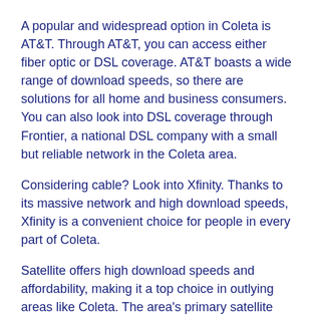A popular and widespread option in Coleta is AT&T. Through AT&T, you can access either fiber optic or DSL coverage. AT&T boasts a wide range of download speeds, so there are solutions for all home and business consumers. You can also look into DSL coverage through Frontier, a national DSL company with a small but reliable network in the Coleta area.
Considering cable? Look into Xfinity. Thanks to its massive network and high download speeds, Xfinity is a convenient choice for people in every part of Coleta.
Satellite offers high download speeds and affordability, making it a top choice in outlying areas like Coleta. The area's primary satellite provider is Viasat.
Fastest Internet Service Providers in Coleta
Xfinity offers internet at speeds up to 1000 Mbps